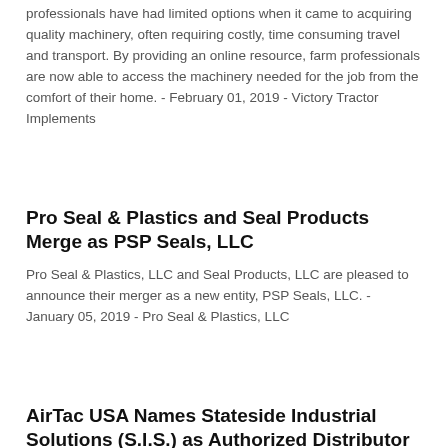professionals have had limited options when it came to acquiring quality machinery, often requiring costly, time consuming travel and transport. By providing an online resource, farm professionals are now able to access the machinery needed for the job from the comfort of their home. - February 01, 2019 - Victory Tractor Implements
Pro Seal & Plastics and Seal Products Merge as PSP Seals, LLC
Pro Seal & Plastics, LLC and Seal Products, LLC are pleased to announce their merger as a new entity, PSP Seals, LLC. - January 05, 2019 - Pro Seal & Plastics, LLC
AirTac USA Names Stateside Industrial Solutions (S.I.S.) as Authorized Distributor
AirTac USA is pleased to announce they have entered into a strategic agreement with Stateside Industrial Solutions (S.I.S.) that makes them an authorized distributor. AirTac is confident that their partnership will provide